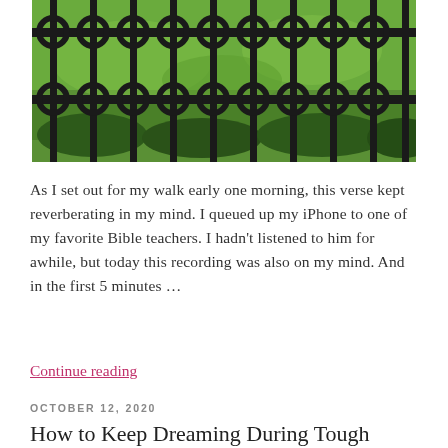[Figure (photo): Close-up photograph of ornate black wrought-iron fence with decorative fleur-de-lis and circular motifs, with green lawn and bushes visible through the fence in the background.]
As I set out for my walk early one morning, this verse kept reverberating in my mind. I queued up my iPhone to one of my favorite Bible teachers. I hadn't listened to him for awhile, but today this recording was also on my mind. And in the first 5 minutes …
Continue reading
OCTOBER 12, 2020
How to Keep Dreaming During Tough Times